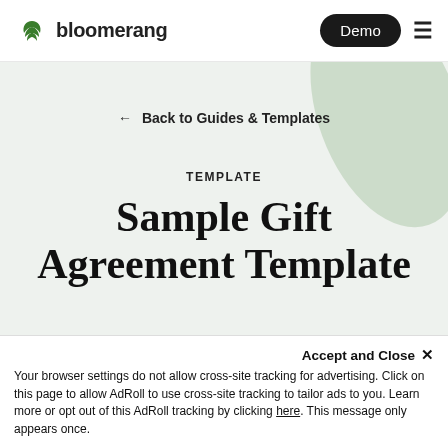bloomerang  Demo  ≡
← Back to Guides & Templates
TEMPLATE
Sample Gift Agreement Template
Accept and Close ×
Your browser settings do not allow cross-site tracking for advertising. Click on this page to allow AdRoll to use cross-site tracking to tailor ads to you. Learn more or opt out of this AdRoll tracking by clicking here. This message only appears once.